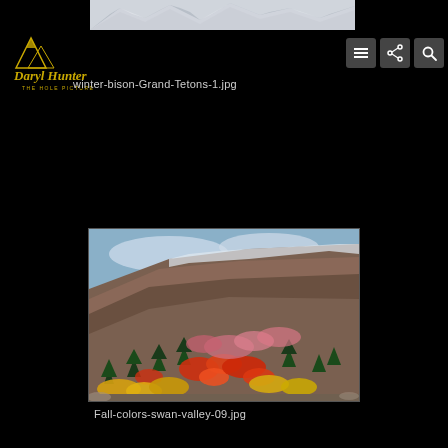[Figure (photo): Snowy mountain landscape thumbnail strip at top — partial view of snow-covered peaks, Grand Tetons winter scene]
[Figure (logo): Daryl Hunter The Hole Picture photography logo in gold script with mountain icon, on black background]
winter-bison-Grand-Tetons-1.jpg
[Figure (photo): Fall colors on hillside in Swan Valley — red, orange, and yellow autumn foliage with evergreen trees on rocky cliff faces with light snow dusting, blue sky]
Fall-colors-swan-valley-09.jpg